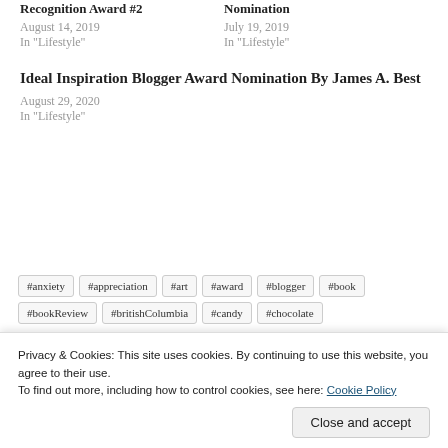Recognition Award #2
August 14, 2019
In "Lifestyle"
Nomination
July 19, 2019
In "Lifestyle"
Ideal Inspiration Blogger Award Nomination By James A. Best
August 29, 2020
In "Lifestyle"
#anxiety
#appreciation
#art
#award
#blogger
#book
#bookReview
#britishColumbia
#candy
#chocolate
#choosin
#coffee
#codingcloud
#community
#conflict
Privacy & Cookies: This site uses cookies. By continuing to use this website, you agree to their use.
To find out more, including how to control cookies, see here: Cookie Policy
Close and accept